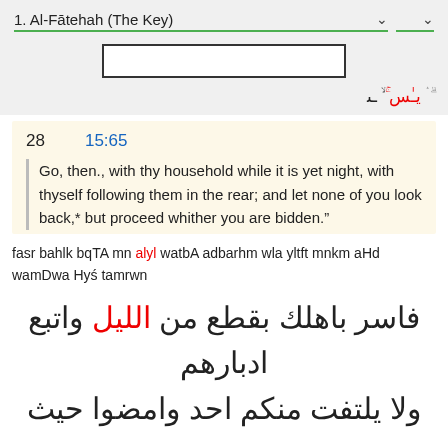1. Al-Fātehah (The Key)  ▾  ▾
[Figure (screenshot): Search input box]
Arabic text partial line (top, right-aligned)
28    15:65
Go, then., with thy household while it is yet night, with thyself following them in the rear; and let none of you look back,* but proceed whither you are bidden."
fasr bahlk bqTA mn alyl watbA adbarhm wla yltft mnkm aHd wamDwa Hyś tamrwn
فاسر باهلك بقطع من الليل واتبع ادبارهم ولا يلتفت منكم احد وامضوا حيث تؤمرون